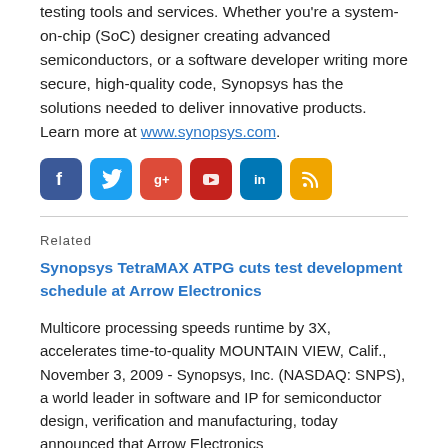testing tools and services. Whether you're a system-on-chip (SoC) designer creating advanced semiconductors, or a software developer writing more secure, high-quality code, Synopsys has the solutions needed to deliver innovative products. Learn more at www.synopsys.com.
[Figure (infographic): Six social media icon buttons: Facebook (blue), Twitter (light blue), Google+ (red), YouTube (red), LinkedIn (blue), RSS feed (orange)]
Related
Synopsys TetraMAX ATPG cuts test development schedule at Arrow Electronics
Multicore processing speeds runtime by 3X, accelerates time-to-quality MOUNTAIN VIEW, Calif., November 3, 2009 - Synopsys, Inc. (NASDAQ: SNPS), a world leader in software and IP for semiconductor design, verification and manufacturing, today announced that Arrow Electronics